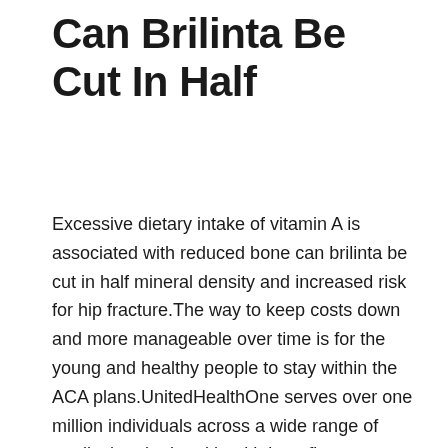Can Brilinta Be Cut In Half
Excessive dietary intake of vitamin A is associated with reduced bone can brilinta be cut in half mineral density and increased risk for hip fracture.The way to keep costs down and more manageable over time is for the young and healthy people to stay within the ACA plans.UnitedHealthOne serves over one million individuals across a wide range of medical and related health benefits products.The Health Information Management accreditor of Lakeshore Technical College is the Commission on Accreditation for Health Informatics and Information Management Education (CAHIIM).In